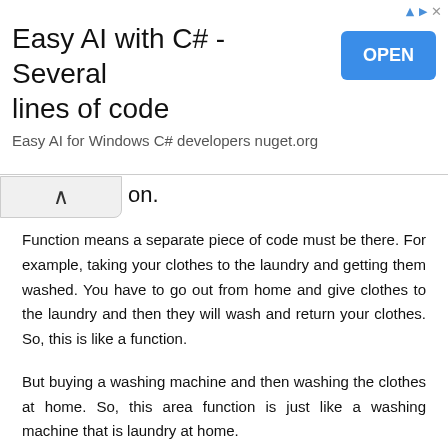[Figure (other): Advertisement banner: 'Easy AI with C# - Several lines of code' with an OPEN button and subtitle 'Easy AI for Windows C# developers nuget.org']
on.
Function means a separate piece of code must be there. For example, taking your clothes to the laundry and getting them washed. You have to go out from home and give clothes to the laundry and then they will wash and return your clothes. So, this is like a function.
But buying a washing machine and then washing the clothes at home. So, this area function is just like a washing machine that is laundry at home.
So, if the complete machine code is written here then it is not our function. It is a part of the main function. If you write down the functions inside the class only then such functions are called inline functions. These functions automatically become inline. Their machine code will be replaced wherever the function is called. In